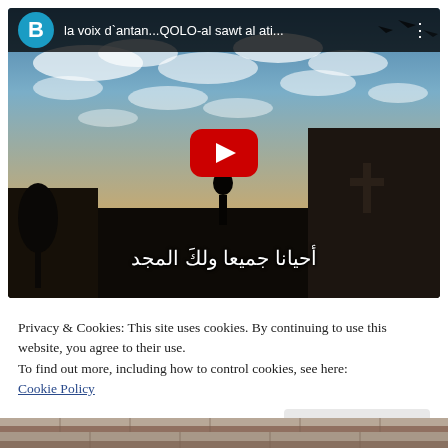[Figure (screenshot): YouTube video embed showing a video titled 'la voix d'antan...QOLO-al sawt al ati...' with a sky and building thumbnail, YouTube play button in center, Arabic subtitle text at bottom reading احيانا جميعا ولك المجد, with a user avatar B in teal circle in top-left of the player bar]
Privacy & Cookies: This site uses cookies. By continuing to use this website, you agree to their use.
To find out more, including how to control cookies, see here:
Cookie Policy
Close and accept
[Figure (photo): Bottom strip showing a stone wall or pavement texture, partially visible]